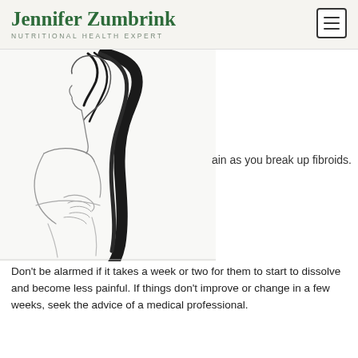Jennifer Zumbrink
NUTRITIONAL HEALTH EXPERT
[Figure (illustration): Line illustration of a woman with long dark hair, hand placed on her chest/breast area, side profile view]
ain as you break up fibroids.
Don't be alarmed if it takes a week or two for them to start to dissolve and become less painful. If things don't improve or change in a few weeks, seek the advice of a medical professional.
2. Use nontoxic deodorant. The armpit (or axilla) is one of the most